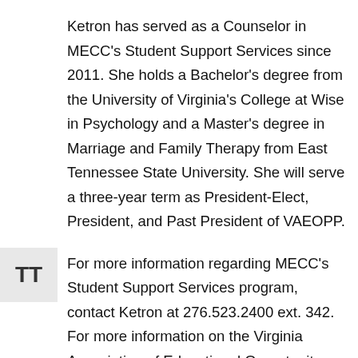Ketron has served as a Counselor in MECC's Student Support Services since 2011. She holds a Bachelor's degree from the University of Virginia's College at Wise in Psychology and a Master's degree in Marriage and Family Therapy from East Tennessee State University. She will serve a three-year term as President-Elect, President, and Past President of VAEOPP.
For more information regarding MECC's Student Support Services program, contact Ketron at 276.523.2400 ext. 342. For more information on the Virginia Association of Educational Opportunity Program Personnel, visit www.vaeopp.org.